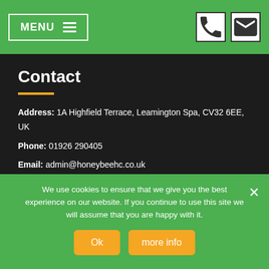MENU
Contact
Address: 1A Highfield Terrace, Leamington Spa, CV32 6EE, UK
Phone: 01926 290405
Email: admin@honeybeehc.co.uk
Hour: Monday to Friday 9:30 – 17:30
We use cookies to ensure that we give you the best experience on our website. If you continue to use this site we will assume that you are happy with it.